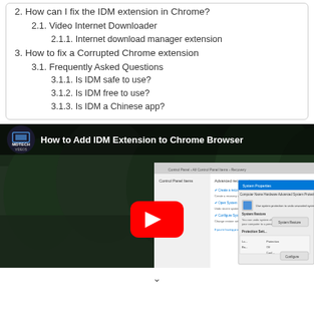2. How can I fix the IDM extension in Chrome?
2.1. Video Internet Downloader
2.1.1. Internet download manager extension
3. How to fix a Corrupted Chrome extension
3.1. Frequently Asked Questions
3.1.1. Is IDM safe to use?
3.1.2. Is IDM free to use?
3.1.3. Is IDM a Chinese app?
[Figure (screenshot): YouTube video thumbnail showing 'How to Add IDM Extension to Chrome Browser' by MDTECH Videos channel, with a background of trees/vegetation and a Windows control panel screenshot overlay with a red YouTube play button.]